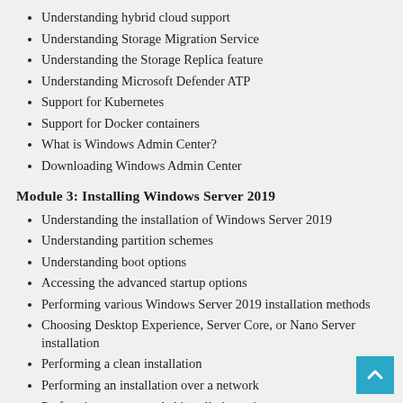Understanding hybrid cloud support
Understanding Storage Migration Service
Understanding the Storage Replica feature
Understanding Microsoft Defender ATP
Support for Kubernetes
Support for Docker containers
What is Windows Admin Center?
Downloading Windows Admin Center
Module 3: Installing Windows Server 2019
Understanding the installation of Windows Server 2019
Understanding partition schemes
Understanding boot options
Accessing the advanced startup options
Performing various Windows Server 2019 installation methods
Choosing Desktop Experience, Server Core, or Nano Server installation
Performing a clean installation
Performing an installation over a network
Performing an unattended installation using